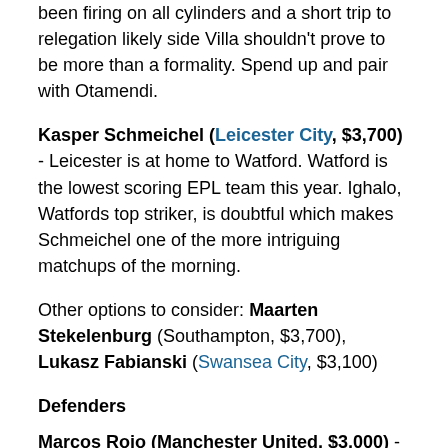been firing on all cylinders and a short trip to relegation likely side Villa shouldn't prove to be more than a formality. Spend up and pair with Otamendi.
Kasper Schmeichel (Leicester City, $3,700) - Leicester is at home to Watford. Watford is the lowest scoring EPL team this year. Ighalo, Watfords top striker, is doubtful which makes Schmeichel one of the more intriguing matchups of the morning.
Other options to consider: Maarten Stekelenburg (Southampton, $3,700), Lukasz Fabianski (Swansea City, $3,100)
Defenders
Marcos Rojo (Manchester United, $3,000) - Since Van Gaal has moved Rojo to the left back position replacing the injured Shaw, he has been nothing short